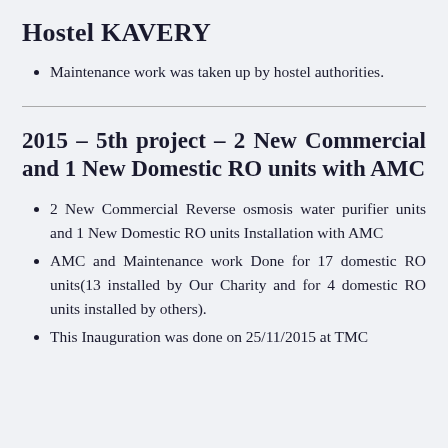Hostel KAVERY
Maintenance work was taken up by hostel authorities.
2015 – 5th project – 2 New Commercial and 1 New Domestic RO units with AMC
2 New Commercial Reverse osmosis water purifier units and 1 New Domestic RO units Installation with AMC
AMC and Maintenance work Done for 17 domestic RO units(13 installed by Our Charity and for 4 domestic RO units installed by others).
This Inauguration was done on 25/11/2015 at TMC